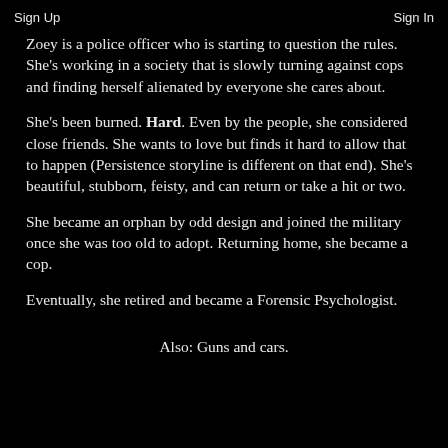Sign Up    Sign In
Zoey is a police officer who is starting to question the rules. She's working in a society that is slowly turning against cops and finding herself alienated by everyone she cares about.
She's been burned. Hard. Even by the people, she considered close friends. She wants to love but finds it hard to allow that to happen (Persistence storyline is different on that end). She's beautiful, stubborn, feisty, and can return or take a hit or two.
She became an orphan by odd design and joined the military once she was too old to adopt. Returning home, she became a cop.
Eventually, she retired and became a Forensic Psychologist.
Also: Guns and cars.